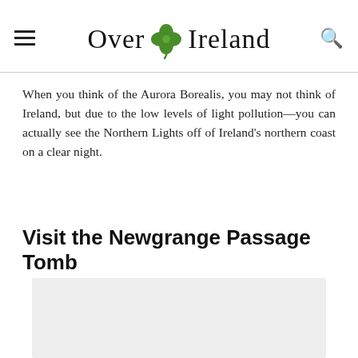Over in Ireland
When you think of the Aurora Borealis, you may not think of Ireland, but due to the low levels of light pollution—you can actually see the Northern Lights off of Ireland's northern coast on a clear night.
Visit the Newgrange Passage Tomb
[Figure (photo): Image placeholder (light grey rectangle) for a photo related to Newgrange Passage Tomb]